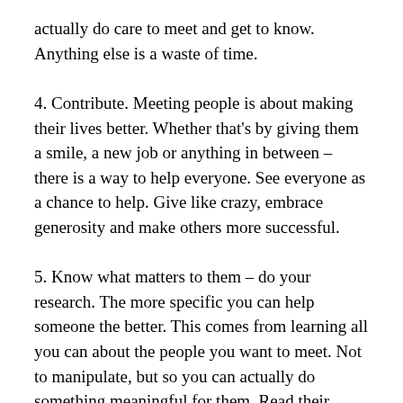actually do care to meet and get to know. Anything else is a waste of time.
4. Contribute. Meeting people is about making their lives better. Whether that's by giving them a smile, a new job or anything in between – there is a way to help everyone. See everyone as a chance to help. Give like crazy, embrace generosity and make others more successful.
5. Know what matters to them – do your research. The more specific you can help someone the better. This comes from learning all you can about the people you want to meet. Not to manipulate, but so you can actually do something meaningful for them. Read their blogs and books, take their courses, sign up for their newsletters, learn about their interests, family, passions and charity work. Anything is game. With today's online tools, there is no excuse not to learn about someone before trying